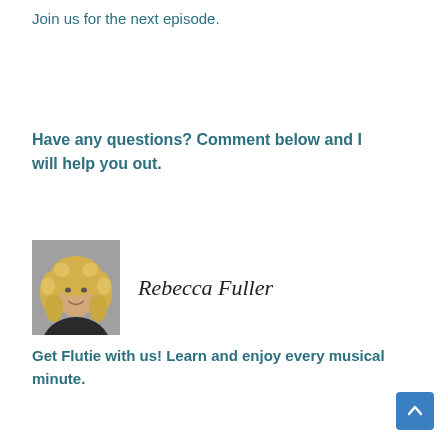Join us for the next episode.
Have any questions? Comment below and I will help you out.
[Figure (photo): Portrait photo of Rebecca Fuller, a woman with curly blonde hair, smiling, wearing a dark top, with a gray background. Next to the photo is a cursive signature reading 'Rebecca Fuller'.]
Get Flutie with us! Learn and enjoy every musical minute.